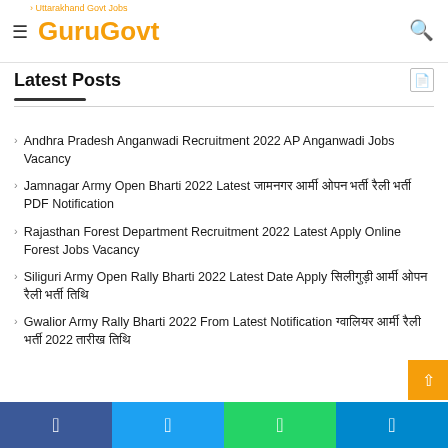GuruGovt
Latest Posts
Andhra Pradesh Anganwadi Recruitment 2022 AP Anganwadi Jobs Vacancy
Jamnagar Army Open Bharti 2022 Latest जामनगर आर्मी ओपन भर्ती रैली भर्ती PDF Notification
Rajasthan Forest Department Recruitment 2022 Latest Apply Online Forest Jobs Vacancy
Siliguri Army Open Rally Bharti 2022 Latest Date Apply सिलीगुड़ी आर्मी ओपन रैली भर्ती तिथि
Gwalior Army Rally Bharti 2022 From Latest Notification ग्वालियर आर्मी रैली भर्ती 2022 तारीख तिथि